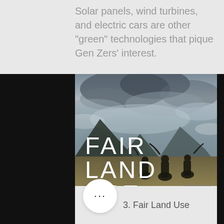Solar panels, wind turbines, and electric cars are other "green" technologies that pique Gen Zers' interest.
[Figure (photo): Outdoor landscape photo with large text overlay reading 'FAIR LAND USE'. Three riders on horseback with eagles in a vast grassland with mountains and cloudy sky in the background.]
3. Fair Land Use